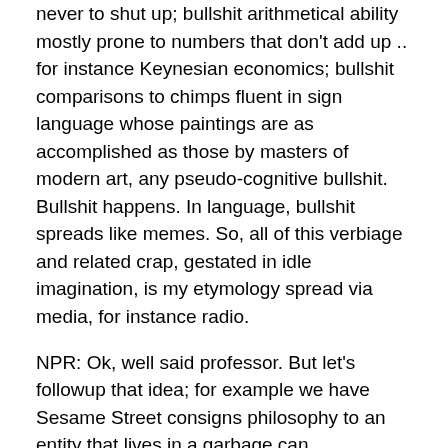never to shut up; bullshit arithmetical ability mostly prone to numbers that don't add up .. for instance Keynesian economics; bullshit comparisons to chimps fluent in sign language whose paintings are as accomplished as those by masters of modern art, any pseudo-cognitive bullshit. Bullshit happens. In language, bullshit spreads like memes. So, all of this verbiage and related crap, gestated in idle imagination, is my etymology spread via media, for instance radio.
NPR: Ok, well said professor. But let's followup that idea; for example we have Sesame Street consigns philosophy to an entity that lives in a garbage can…
Ungawa: As per your example, each of us has somehow acquired the capacity for crap which, from the very first step, is largely mysterious. Take a child. Almost instantly and reflexively, he or she is able to embrace, out of the